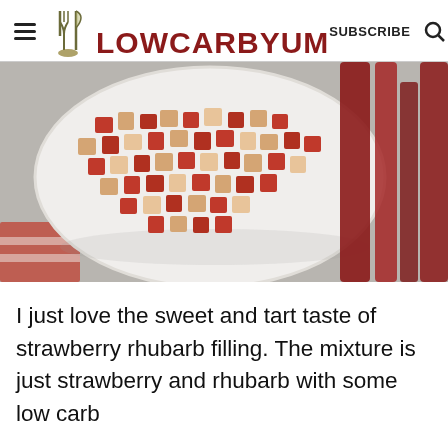LOW CARB YUM — SUBSCRIBE
[Figure (photo): Chopped rhubarb pieces on a white plate, with red rhubarb stalks visible on the right side, placed on a gray textured surface with a red and white cloth.]
I just love the sweet and tart taste of strawberry rhubarb filling. The mixture is just strawberry and rhubarb with some low carb